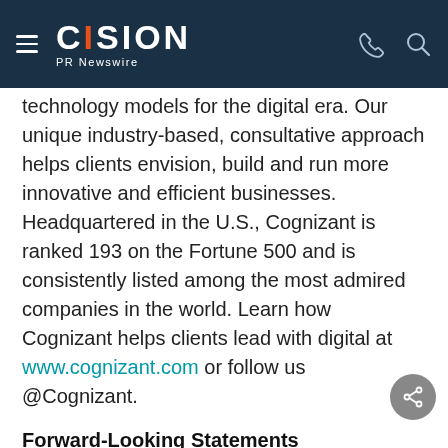CISION PR Newswire
technology models for the digital era. Our unique industry-based, consultative approach helps clients envision, build and run more innovative and efficient businesses. Headquartered in the U.S., Cognizant is ranked 193 on the Fortune 500 and is consistently listed among the most admired companies in the world. Learn how Cognizant helps clients lead with digital at www.cognizant.com or follow us @Cognizant.
Forward-Looking Statements
This press release includes statements which may constitute forward-looking statements made